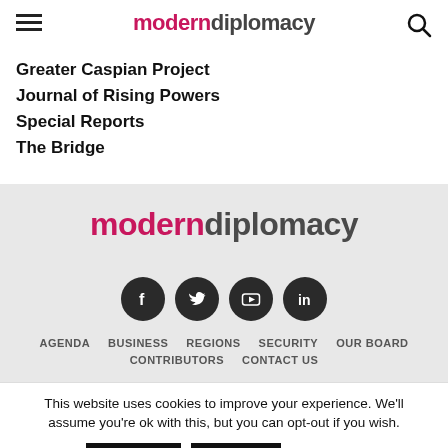modern diplomacy
Greater Caspian Project
Journal of Rising Powers
Special Reports
The Bridge
[Figure (logo): moderndiplomacy logo in footer, with 'modern' in pink/magenta and 'diplomacy' in dark gray]
[Figure (infographic): Social media icons: Facebook, Twitter, YouTube, LinkedIn — dark circular buttons]
AGENDA  BUSINESS  REGIONS  SECURITY  OUR BOARD  CONTRIBUTORS  CONTACT US
This website uses cookies to improve your experience. We'll assume you're ok with this, but you can opt-out if you wish.
Accept  Reject  Read More